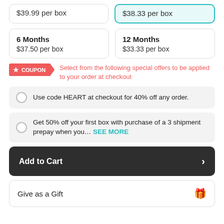$39.99 per box
$38.33 per box
6 Months
$37.50 per box
12 Months
$33.33 per box
COUPON — Select from the following special offers to be applied to your order at checkout
Use code HEART at checkout for 40% off any order.
Get 50% off your first box with purchase of a 3 shipment prepay when you… SEE MORE
Add to Cart
Give as a Gift